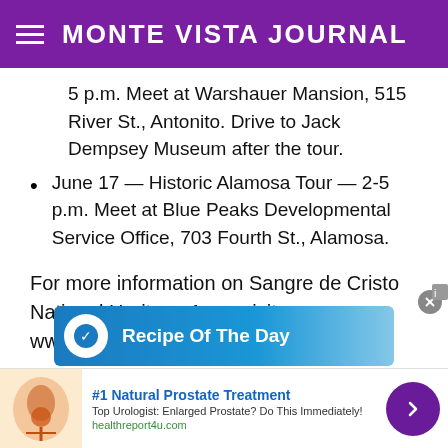MONTE VISTA JOURNAL
5 p.m. Meet at Warshauer Mansion, 515 River St., Antonito. Drive to Jack Dempsey Museum after the tour.
June 17 — Historic Alamosa Tour — 2-5 p.m. Meet at Blue Peaks Developmental Service Office, 703 Fourth St., Alamosa.
For more information on Sangre de Cristo National Heritage Area, visit www.sangreheritage.org.
[Figure (screenshot): Recipe Of The Day advertisement banner with blue gradient background and white text]
[Figure (screenshot): Bottom advertisement: #1 Natural Prostate Treatment - Top Urologist: Enlarged Prostate? Do This Immediately! healthreport4u.com]